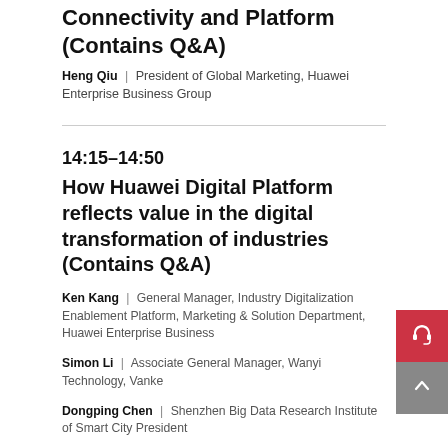Connectivity and Platform (Contains Q&A)
Heng Qiu | President of Global Marketing, Huawei Enterprise Business Group
14:15–14:50
How Huawei Digital Platform reflects value in the digital transformation of industries (Contains Q&A)
Ken Kang | General Manager, Industry Digitalization Enablement Platform, Marketing & Solution Department, Huawei Enterprise Business
Simon Li | Associate General Manager, Wanyi Technology, Vanke
Dongping Chen | Shenzhen Big Data Research Institute of Smart City President